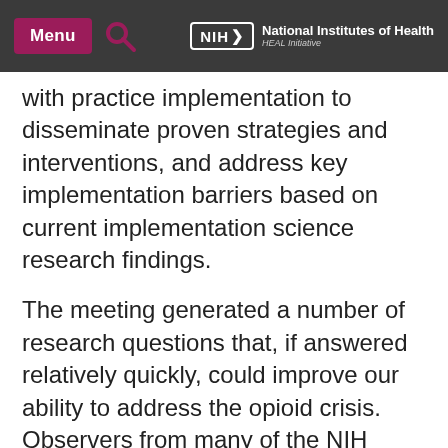Menu | NIH National Institutes of Health HEAL Initiative
with practice implementation to disseminate proven strategies and interventions, and address key implementation barriers based on current implementation science research findings.
The meeting generated a number of research questions that, if answered relatively quickly, could improve our ability to address the opioid crisis.  Observers from many of the NIH Institutes, Centers, and Offices attended this meeting, and these staff members will consider the input from meeting participants, prioritize